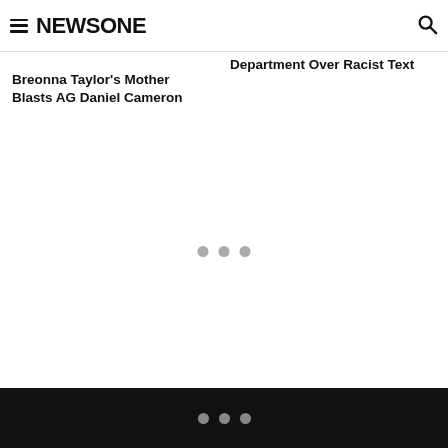NEWSONE
Breonna Taylor's Mother Blasts AG Daniel Cameron
Department Over Racist Text
[Figure (other): Three grey loading indicator dots centered on the page]
[Figure (other): Three grey dots on black bar at bottom of page]